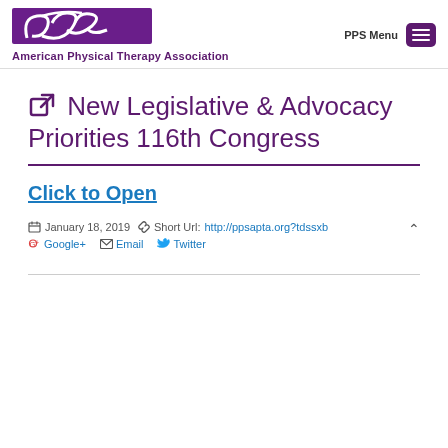[Figure (logo): American Physical Therapy Association logo with purple stylized 'PPS' graphic and text below]
New Legislative & Advocacy Priorities 116th Congress
Click to Open
January 18, 2019  Short Url: http://ppsapta.org?tdssxb  Google+  Email  Twitter